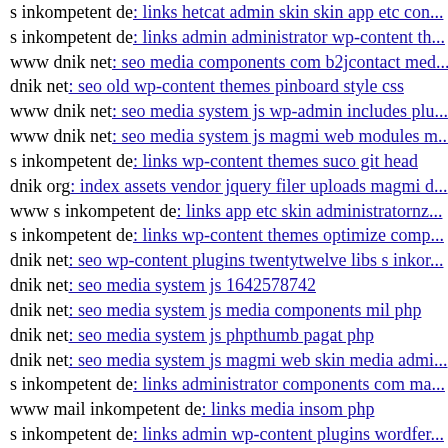s inkompetent de: links hetcat admin skin skin app etc con...
s inkompetent de: links admin administrator wp-content th...
www dnik net: seo media components com b2jcontact med...
dnik net: seo old wp-content themes pinboard style css
www dnik net: seo media system js wp-admin includes plu...
www dnik net: seo media system js magmi web modules m...
s inkompetent de: links wp-content themes suco git head
dnik org: index assets vendor jquery filer uploads magmi d...
www s inkompetent de: links app etc skin administratornz...
s inkompetent de: links wp-content themes optimize comp...
dnik net: seo wp-content plugins twentytwelve libs s inkor...
dnik net: seo media system js 1642578742
dnik net: seo media system js media components mil php
dnik net: seo media system js phpthumb pagat php
dnik net: seo media system js magmi web skin media admi...
s inkompetent de: links administrator components com ma...
www mail inkompetent de: links media insom php
s inkompetent de: links admin wp-content plugins wordfer...
s inkompetent de: links skin images links s inkompetent de...
dnik net: seo wp-admin wp-content themes slide style css
www s inkompetent de: links manager skin components co...